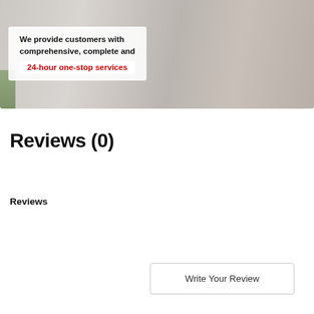[Figure (photo): Banner image showing call center workers wearing headsets. Overlay text reads: 'We provide customers with comprehensive, complete and 24-hour one-stop services' with the last line in red.]
Reviews (0)
Reviews
Write Your Review